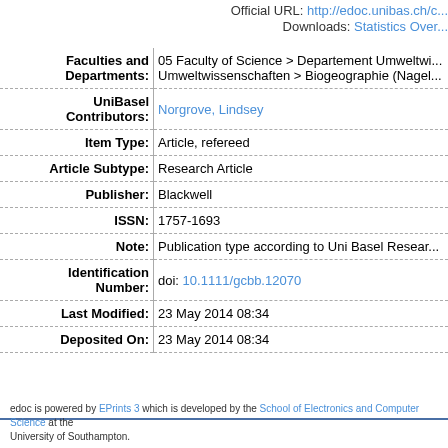Official URL: http://edoc.unibas.ch/...
Downloads: Statistics Over...
| Field | Value |
| --- | --- |
| Faculties and Departments: | 05 Faculty of Science > Departement Umweltwissenschaften > Biogeographie (Nagel...) |
| UniBasel Contributors: | Norgrove, Lindsey |
| Item Type: | Article, refereed |
| Article Subtype: | Research Article |
| Publisher: | Blackwell |
| ISSN: | 1757-1693 |
| Note: | Publication type according to Uni Basel Research... |
| Identification Number: | doi: 10.1111/gcbb.12070 |
| Last Modified: | 23 May 2014 08:34 |
| Deposited On: | 23 May 2014 08:34 |
edoc is powered by EPrints 3 which is developed by the School of Electronics and Computer Science at the University of Southampton.